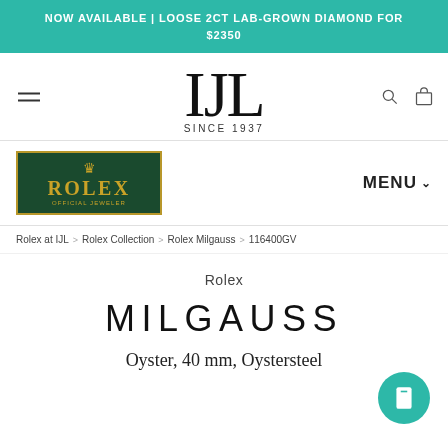NOW AVAILABLE | LOOSE 2CT LAB-GROWN DIAMOND FOR $2350
[Figure (logo): IJL Since 1937 jeweler logo with hamburger menu, search and cart icons]
[Figure (logo): Rolex Official Jeweler badge in green and gold with MENU dropdown]
Rolex at IJL > Rolex Collection > Rolex Milgauss > 116400GV
Rolex
MILGAUSS
Oyster, 40 mm, Oystersteel